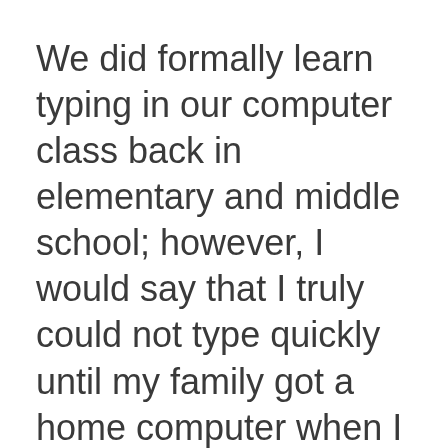We did formally learn typing in our computer class back in elementary and middle school; however, I would say that I truly could not type quickly until my family got a home computer when I was 14. It arrived at the perfect time, especially since I started high school still typing my papers on a typewriter! Once we got the computer, we signed up with AOL. As I discovered the new world of AOL instant messaging, I had to learn how to type quickly, especially